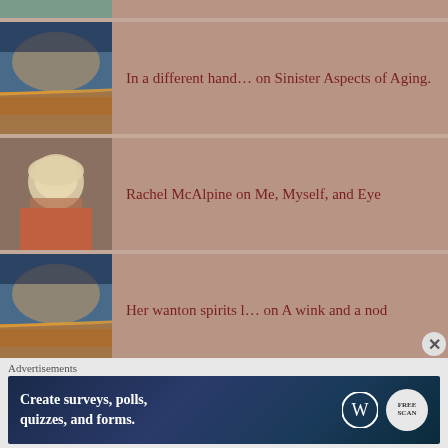In a different hand… on Sinister Aspects of Aging.
Rachel McAlpine on Me, Myself, and Eye
Her wanton spirits l… on A wink and a nod
ARCHIVES
August 2022
July 2022
Advertisements
Create surveys, polls, quizzes, and forms.